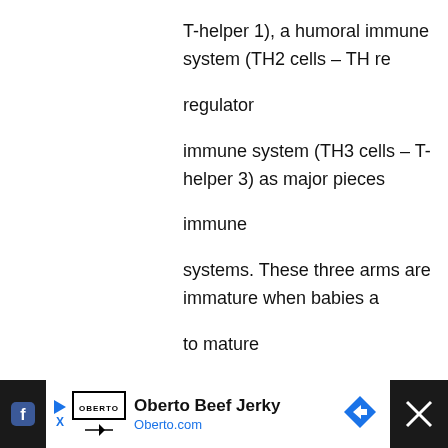T-helper 1), a humoral immune system (TH2 cells – TH regulator immune system (TH3 cells – T-helper 3) as major pieces immune systems. These three arms are immature when babies are to mature as children are exposed to their environments through systems, skin, airways and intestines. Antibiotics, poor nutrition to heavy metals and other environmental toxins, and the may interfere with the proper maturing process of these three children's immune systems. In theory, if the TH system is allowed not interfered with, children will develop a mature, balanced TH3 immune system by age three.
[Figure (screenshot): Advertisement banner for Oberto Beef Jerky showing logo, brand name, and website Oberto.com with a navigation arrow icon on a dark background.]